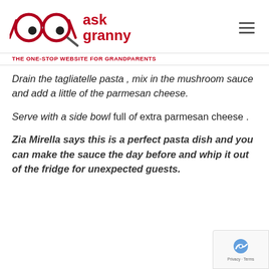[Figure (logo): Ask Granny website logo with glasses icon and red text reading 'ask granny', alongside a hamburger menu icon]
THE ONE-STOP WEBSITE FOR GRANDPARENTS
Drain the tagliatelle pasta , mix in the mushroom sauce and add a little of the parmesan cheese.
Serve with a side bowl full of  extra parmesan cheese .
Zia Mirella says this is a perfect pasta dish and you can make the sauce the day before and whip it out of the fridge for unexpected guests.
[Figure (logo): Google reCAPTCHA badge with Privacy and Terms links]